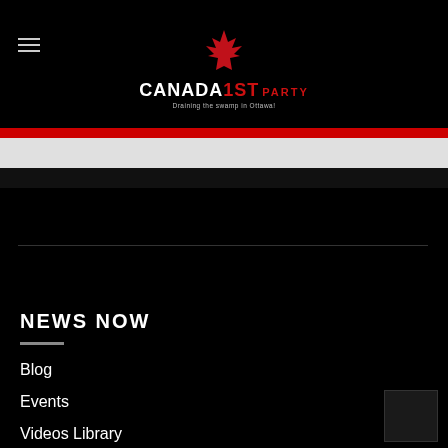[Figure (logo): Canada 1st Party logo with red maple leaf graphic above the text CANADA1ST PARTY with tagline]
NEWS NOW
Blog
Events
Videos Library
Platform